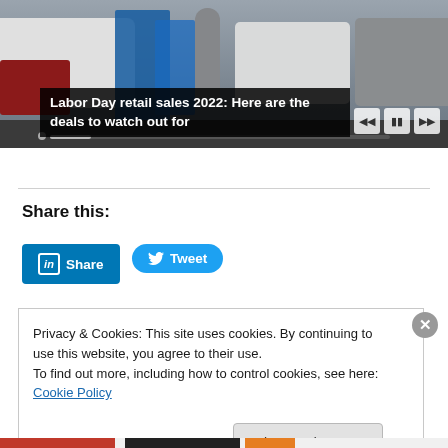[Figure (photo): Parking lot scene with white trucks, shopping carts, and people, resembling a retail store exterior. Video player controls visible at top right.]
Labor Day retail sales 2022: Here are the deals to watch out for
Share this:
Privacy & Cookies: This site uses cookies. By continuing to use this website, you agree to their use.
To find out more, including how to control cookies, see here: Cookie Policy
Close and accept